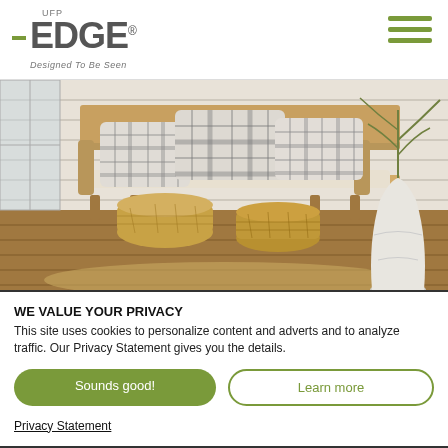[Figure (logo): UFP Edge logo with green bars and tagline 'Designed To Be Seen']
[Figure (photo): Interior lifestyle photo showing a wooden bench with plaid pillows, wicker baskets underneath, white shiplap wall background, and a white vase with greenery]
WE VALUE YOUR PRIVACY
This site uses cookies to personalize content and adverts and to analyze traffic. Our Privacy Statement gives you the details.
Sounds good!
Learn more
Privacy Statement